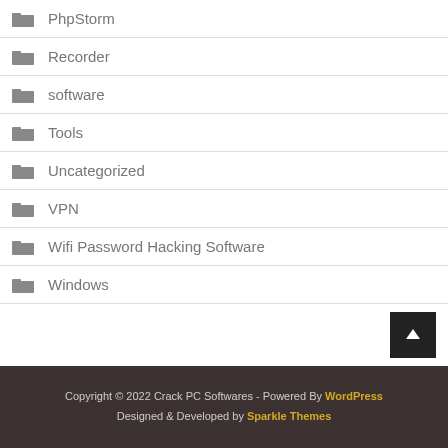PhpStorm
Recorder
software
Tools
Uncategorized
VPN
Wifi Password Hacking Software
Windows
Copyright © 2022 Crack PC Softwares - Powered By WordPress
Designed & Developed by Sparkle Themes